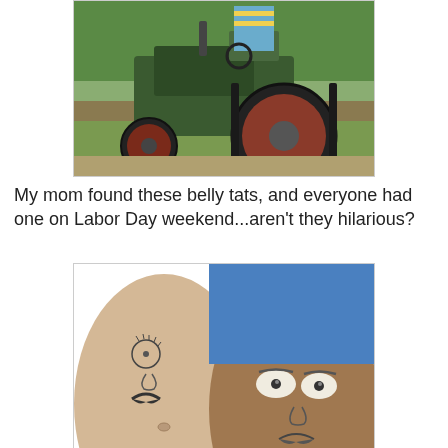[Figure (photo): A green vintage tractor with red wheels on a grassy field, partially visible person in striped shirt on top]
My mom found these belly tats, and everyone had one on Labor Day weekend...aren't they hilarious?
[Figure (photo): Two people showing their bare bellies with humorous face tattoos/designs painted on them — one lighter-skinned belly with a simple face, one darker-skinned belly with a more detailed face with mustache, both wearing jeans/shorts]
I promised a classroom reveal, so here it is...I just wanted you to know that I really did take the summer off, not just